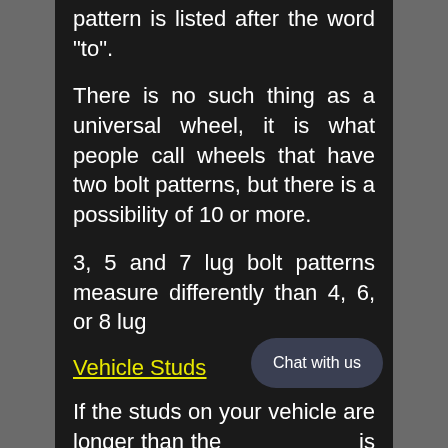pattern is listed after the word "to".
There is no such thing as a universal wheel, it is what people call wheels that have two bolt patterns, but there is a possibility of 10 or more.
3, 5 and 7 lug bolt patterns measure differently than 4, 6, or 8 lug
Vehicle Studs
If the studs on your vehicle are longer than the [wheel] is thick you may [need to] trim them down so they do not touch the back of the